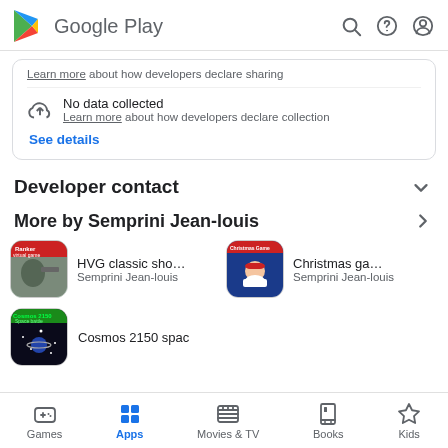Google Play
Learn more about how developers declare sharing
No data collected
Learn more about how developers declare collection
See details
Developer contact
More by Semprini Jean-louis
[Figure (screenshot): App icon for HVG classic shoot game by Semprini Jean-louis]
HVG classic shoot c
Semprini Jean-louis
[Figure (screenshot): App icon for Christmas game by Semprini Jean-louis]
Christmas game sh
Semprini Jean-louis
[Figure (screenshot): App icon for Cosmos 2150 space game]
Cosmos 2150 spac
Games   Apps   Movies & TV   Books   Kids